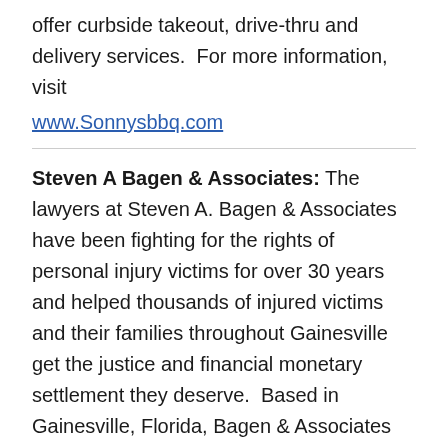offer curbside takeout, drive-thru and delivery services.  For more information, visit www.Sonnysbbq.com
Steven A Bagen & Associates: The lawyers at Steven A. Bagen & Associates have been fighting for the rights of personal injury victims for over 30 years and helped thousands of injured victims and their families throughout Gainesville get the justice and financial monetary settlement they deserve.  Based in Gainesville, Florida, Bagen & Associates has been servicing clients for over three decades throughout North and Central Florida, including the major metropolitan areas of greater Jacksonville, Gainesville/Ocala, and greater Orlando and Daytona. Our team of personal injury lawyers are motivated and